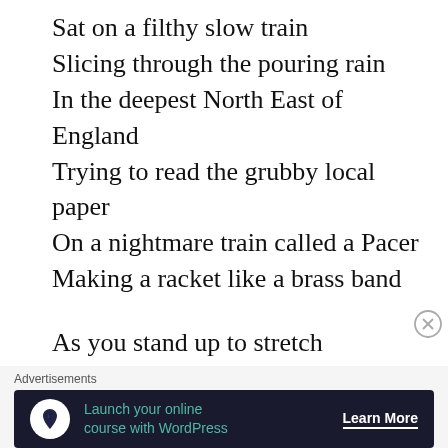Sat on a filthy slow train
Slicing through the pouring rain
In the deepest North East of England
Trying to read the grubby local paper
On a nightmare train called a Pacer
Making a racket like a brass band

As you stand up to stretch
The train crosses a point or two
Flinging you left and right
[Figure (other): Advertisement banner: 'Launch your online course with WordPress' with a Learn More button, dark navy background with teal text.]